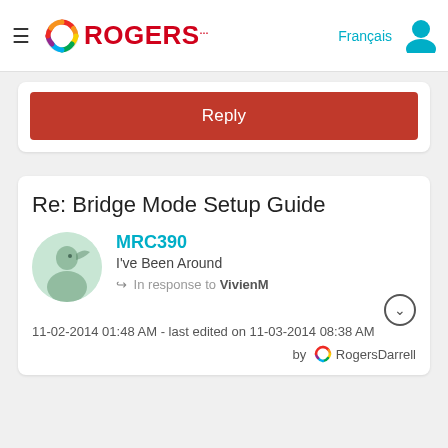Rogers — Français
[Figure (other): Reply button - red rectangular button with white text 'Reply']
Re: Bridge Mode Setup Guide
[Figure (photo): User avatar showing person silhouette with green tinted circular crop]
MRC390
I've Been Around
In response to VivienM
11-02-2014 01:48 AM - last edited on 11-03-2014 08:38 AM
by RogersDarrell